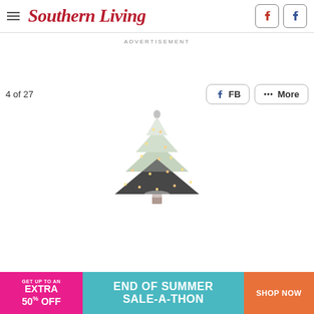Southern Living
ADVERTISEMENT
4 of 27
[Figure (screenshot): A snow-flocked artificial Christmas tree with warm white lights, shown against a white background, partially cropped at the bottom.]
[Figure (infographic): Bottom banner advertisement: left pink section reads 'GET UP TO AN EXTRA 50% OFF', center teal section reads 'END OF SUMMER SALE-A-THON', right orange section reads 'SHOP NOW']